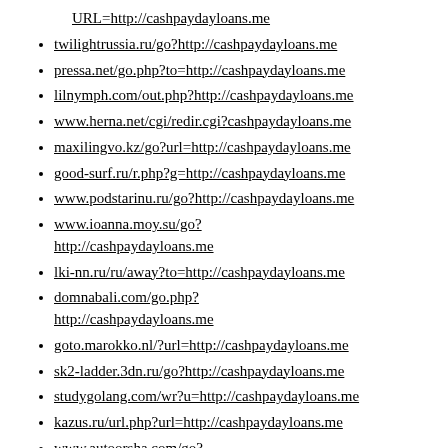URL=http://cashpaydayloans.me
twilightrussia.ru/go?http://cashpaydayloans.me
pressa.net/go.php?to=http://cashpaydayloans.me
lilnymph.com/out.php?http://cashpaydayloans.me
www.herna.net/cgi/redir.cgi?cashpaydayloans.me
maxilingvo.kz/go?url=http://cashpaydayloans.me
good-surf.ru/r.php?g=http://cashpaydayloans.me
www.podstarinu.ru/go?http://cashpaydayloans.me
www.ioanna.moy.su/go?
http://cashpaydayloans.me
lki-nn.ru/ru/away?to=http://cashpaydayloans.me
domnabali.com/go.php?
http://cashpaydayloans.me
goto.marokko.nl/?url=http://cashpaydayloans.me
sk2-ladder.3dn.ru/go?http://cashpaydayloans.me
studygolang.com/wr?u=http://cashpaydayloans.me
kazus.ru/url.php?url=http://cashpaydayloans.me
www.autoorsha.com/go?
http://cashpaydayloans.me